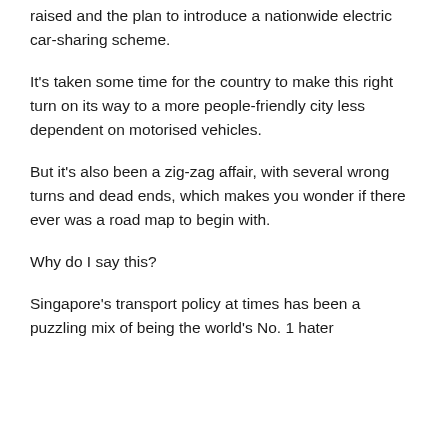raised and the plan to introduce a nationwide electric car-sharing scheme.
It's taken some time for the country to make this right turn on its way to a more people-friendly city less dependent on motorised vehicles.
But it's also been a zig-zag affair, with several wrong turns and dead ends, which makes you wonder if there ever was a road map to begin with.
Why do I say this?
Singapore's transport policy at times has been a puzzling mix of being the world's No. 1 hater